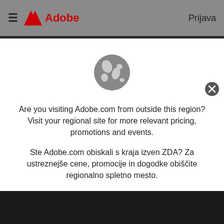≡  Adobe   Prijava
[Figure (illustration): Globe/world icon in gray, showing continents]
Are you visiting Adobe.com from outside this region? Visit your regional site for more relevant pricing, promotions and events.
Ste Adobe.com obiskali s kraja izven ZDA? Za ustreznejše cene, promocije in dogodke obiščite regionalno spletno mesto.